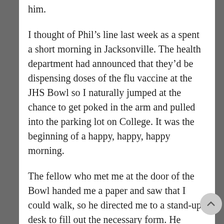him.
I thought of Phil's line last week as a spent a short morning in Jacksonville. The health department had announced that they'd be dispensing doses of the flu vaccine at the JHS Bowl so I naturally jumped at the chance to get poked in the arm and pulled into the parking lot on College. It was the beginning of a happy, happy, happy morning.
The fellow who met me at the door of the Bowl handed me a paper and saw that I could walk, so he directed me to a stand-up desk to fill out the necessary form. He seemed happy that I'd come. Bless him. It's always nice to find someone who hopes you'll make it through the winter.  And in case I had trouble remembering my name, a Morgan County Health Department lady named Bonnie was standing at the desk to offer me assistance. Unlike most health forms this one was short so in 30 seconds I turned to Bonnie who directed me to the next